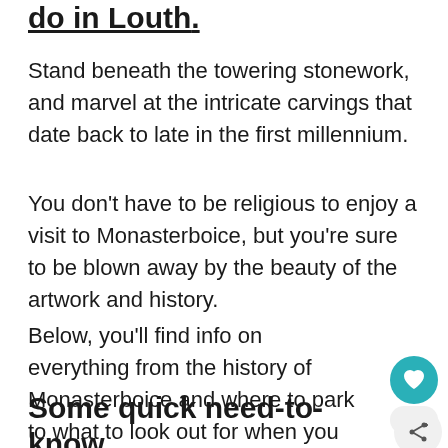do in Louth.
Stand beneath the towering stonework, and marvel at the intricate carvings that date back to late in the first millennium.
You don’t have to be religious to enjoy a visit to Monasterboice, but you’re sure to be blown away by the beauty of the artwork and history.
Below, you’ll find info on everything from the history of Monasterboice and where to park to what to look out for when you arrive.
Some quick need-to-know…